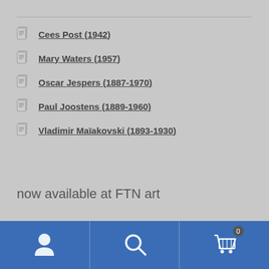Cees Post (1942)
Mary Waters (1957)
Oscar Jespers (1887-1970)
Paul Joostens (1889-1960)
Vladimir Maïakovski (1893-1930)
now available at FTN art
[Figure (photo): Partial photo of an artwork showing dark frame at top, wooden/bamboo elements and textured painted surface below]
Navigation bar with user icon, search icon, and cart icon (0)